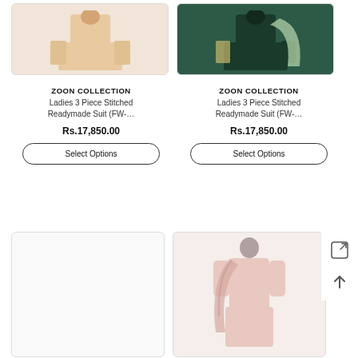[Figure (photo): Product photo of peach/cream ladies 3-piece stitched suit on a model]
ZOON COLLECTION
Ladies 3 Piece Stitched Readymade Suit (FW-…
Rs.17,850.00
Select Options
[Figure (photo): Product photo of dark green ladies 3-piece stitched suit on a model]
ZOON COLLECTION
Ladies 3 Piece Stitched Readymade Suit (FW-…
Rs.17,850.00
Select Options
[Figure (photo): Empty product card (no image visible)]
[Figure (photo): Product photo of pink ladies suit on a mannequin]